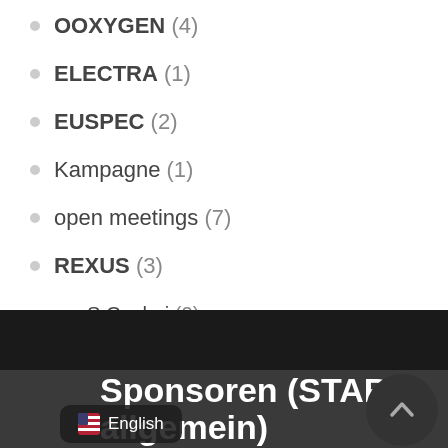OOXYGEN (4)
ELECTRA (1)
EUSPEC (2)
Kampagne (1)
open meetings (7)
REXUS (3)
S Cephei (2)
Vernetzung (2)
Sponsoren (STAR allgemein)